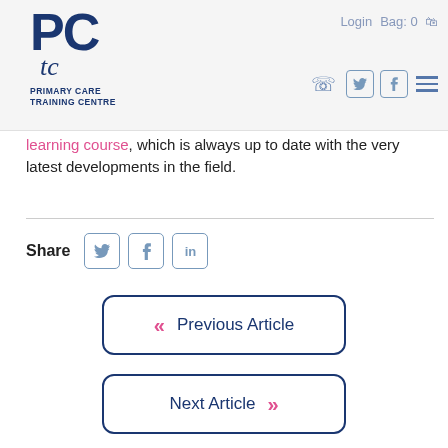Primary Care Training Centre – Login Bag: 0
learning course, which is always up to date with the very latest developments in the field.
Share
Previous Article
Next Article